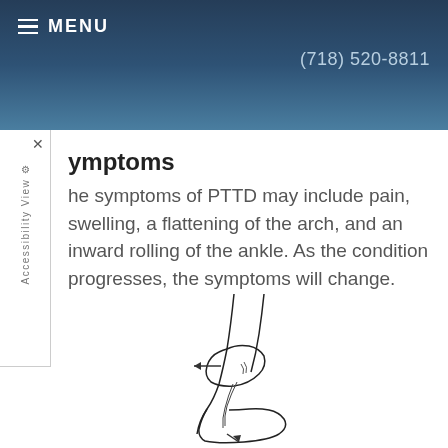MENU   (718) 520-8811
Symptoms
The symptoms of PTTD may include pain, swelling, a flattening of the arch, and an inward rolling of the ankle. As the condition progresses, the symptoms will change.
[Figure (illustration): Medical illustration of a foot/ankle showing inward rolling, with arrows indicating direction of movement related to PTTD.]